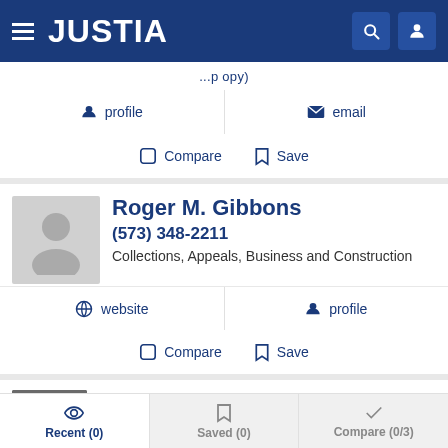JUSTIA
profile   email
Compare   Save
Roger M. Gibbons
(573) 348-2211
Collections, Appeals, Business and Construction
website   profile
Compare   Save
Meredyth Thomas-Vick
Recent (0)   Saved (0)   Compare (0/3)